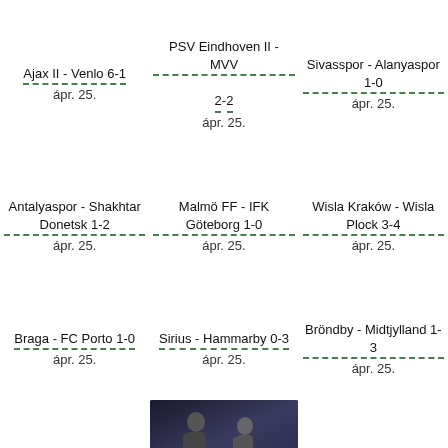Ajax II - Venlo 6-1
ápr. 25.
PSV Eindhoven II - MVV 2-2
ápr. 25.
Sivasspor - Alanyaspor 1-0
ápr. 25.
Antalyaspor - Shakhtar Donetsk 1-2
ápr. 25.
Malmö FF - IFK Göteborg 1-0
ápr. 25.
Wisla Kraków - Wisla Plock 3-4
ápr. 25.
Braga - FC Porto 1-0
ápr. 25.
Sirius - Hammarby 0-3
ápr. 25.
Bröndby - Midtjylland 1-3
ápr. 25.
[Figure (photo): Photo of two people, appears to be at a sports event, dark background]